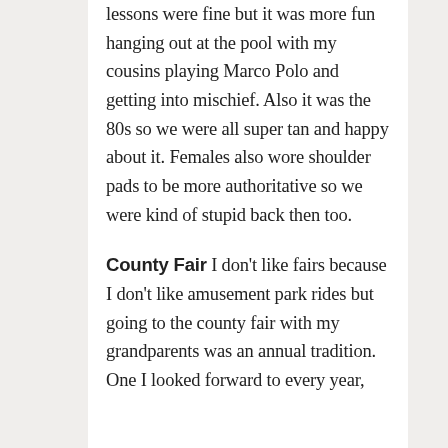lessons were fine but it was more fun hanging out at the pool with my cousins playing Marco Polo and getting into mischief. Also it was the 80s so we were all super tan and happy about it. Females also wore shoulder pads to be more authoritative so we were kind of stupid back then too.
County Fair I don't like fairs because I don't like amusement park rides but going to the county fair with my grandparents was an annual tradition. One I looked forward to every year,